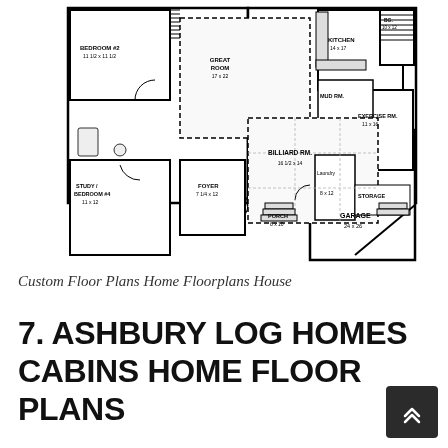[Figure (schematic): House floor plan showing rooms: Bedroom #2 (11 1/2 x 11 1/2), Great Room (17 x 22), Kitchen (14 x 17), Mud Rm, Exercise Rm (11 x 16), BG (10 x 12), Study/Bedroom #4 (11 x 12), Foyer (7 1/4 x 12), Billiard Rm (16 1/2 x 14), Storage, Garage (24 x 26), Laundry (8 x 12), Porch (6 x 10)]
Custom Floor Plans Home Floorplans House
7. ASHBURY LOG HOMES CABINS HOME FLOOR PLANS